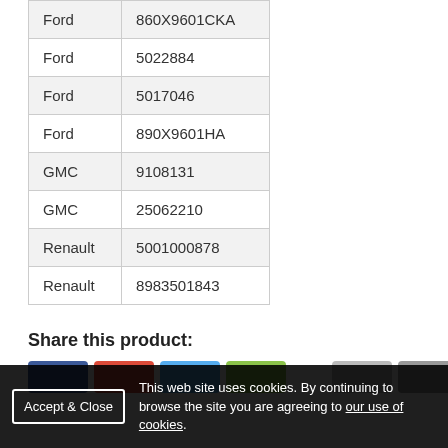| Ford | 860X9601CKA |
| Ford | 5022884 |
| Ford | 5017046 |
| Ford | 890X9601HA |
| GMC | 9108131 |
| GMC | 25062210 |
| Renault | 5001000878 |
| Renault | 8983501843 |
Share this product: